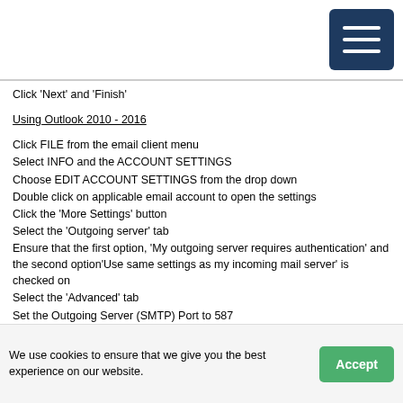[Navigation bar with hamburger menu icon]
Click 'Next' and 'Finish'
Using Outlook 2010 - 2016
Click FILE from the email client menu
Select INFO and the ACCOUNT SETTINGS
Choose EDIT ACCOUNT SETTINGS from the drop down
Double click on applicable email account to open the settings
Click the 'More Settings' button
Select the 'Outgoing server' tab
Ensure that the first option, 'My outgoing server requires authentication' and the second option'Use same settings as my incoming mail server' is checked on
Select the 'Advanced' tab
Set the Outgoing Server (SMTP) Port to 587
The Incoming Server (POP) Port should be set to the default setting, 110. IMAP port is 143
We use cookies to ensure that we give you the best experience on our website. Accept